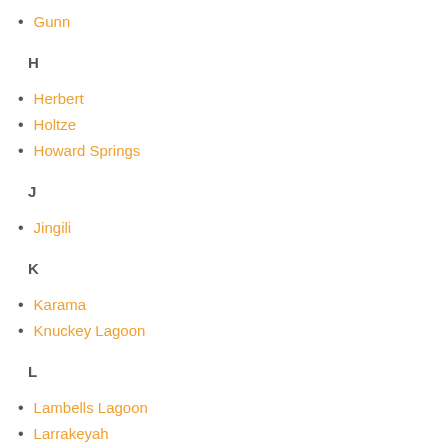Gunn
H
Herbert
Holtze
Howard Springs
J
Jingili
K
Karama
Knuckey Lagoon
L
Lambells Lagoon
Larrakeyah
Leanyer
Lee Point